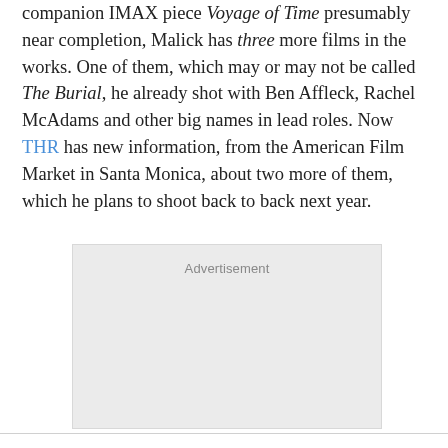companion IMAX piece Voyage of Time presumably near completion, Malick has three more films in the works. One of them, which may or may not be called The Burial, he already shot with Ben Affleck, Rachel McAdams and other big names in lead roles. Now THR has new information, from the American Film Market in Santa Monica, about two more of them, which he plans to shoot back to back next year.
[Figure (other): Advertisement placeholder box with light gray background]